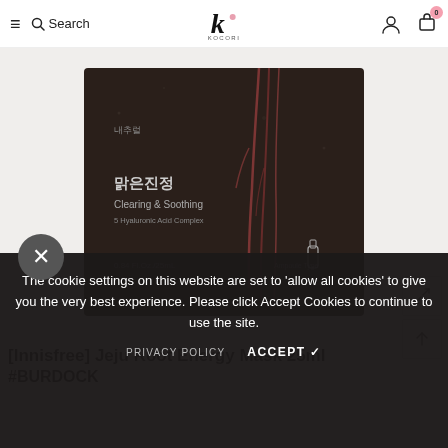≡  🔍 Search   [KOCORI logo]   👤  🛒 0
[Figure (photo): Korean face mask product package — dark brown/black packaging with Korean text '맑은진정', 'Clearing & Soothing', '5 Hyaluronic Acid Complex', '0.84 Fl.Oz./25mL', 'Ampoule Type' — with decorative plant root imagery on a dark background]
The cookie settings on this website are set to 'allow all cookies' to give you the very best experience. Please click Accept Cookies to continue to use the site.
PRIVACY POLICY   ACCEPT ✔
[Innisfree] Jeju Root Energy Mask 25ml #BURDOCK